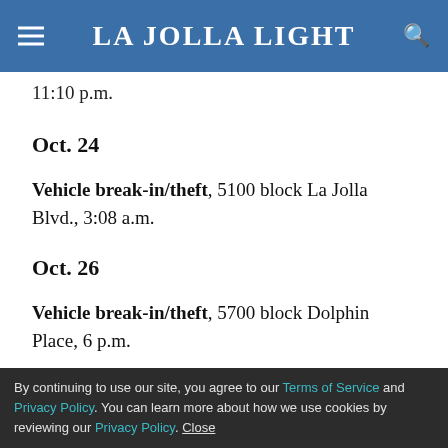La Jolla Light
11:10 p.m.
Oct. 24
Vehicle break-in/theft, 5100 block La Jolla Blvd., 3:08 a.m.
Oct. 26
Vehicle break-in/theft, 5700 block Dolphin Place, 6 p.m.
Oct. 27
By continuing to use our site, you agree to our Terms of Service and Privacy Policy. You can learn more about how we use cookies by reviewing our Privacy Policy. Close